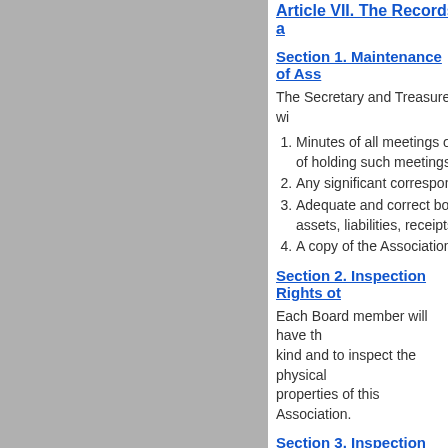Article VII. The Records a...
Section 1. Maintenance of Ass...
The Secretary and Treasurer wi...
Minutes of all meetings o... of holding such meetings...
Any significant correspon...
Adequate and correct bo... assets, liabilities, receipts...
A copy of the Association...
Section 2. Inspection Rights ot...
Each Board member will have th... kind and to inspect the physical... properties of this Association.
Section 3. Inspection Rights ot...
Each member will have the follo...
To inspect at any reasona... any committee of the Boa... a purpose reasonably rel...
Members will have any ot... under provisions of law
Article VIII. The Finances...